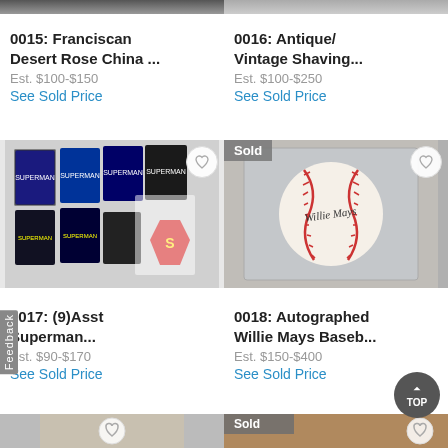[Figure (photo): Top partial image strip left - cropped item photo top]
[Figure (photo): Top partial image strip right - cropped item photo top]
0015: Franciscan Desert Rose China ...
Est. $100-$150
See Sold Price
0016: Antique/ Vintage Shaving...
Est. $100-$250
See Sold Price
[Figure (photo): Superman comic books collection with Superman logo memorabilia]
[Figure (photo): Autographed baseball by Willie Mays in acrylic display case, marked Sold]
0017: (9)Asst Superman...
Est. $90-$170
See Sold Price
0018: Autographed Willie Mays Baseb...
Est. $150-$400
See Sold Price
[Figure (photo): Bottom partial image strip left - cropped item photo bottom]
[Figure (photo): Bottom partial image strip right - cropped item with Sold badge, bottom]